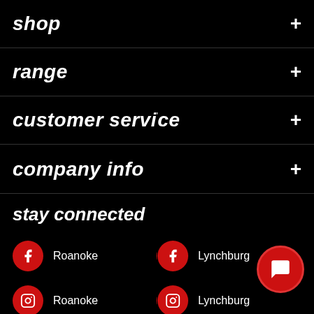shop +
range +
customer service +
company info +
stay connected
Facebook Roanoke | Facebook Lynchburg | Instagram Roanoke | Instagram Lynchburg | Youtube | Blog
subscribe to our newsletter